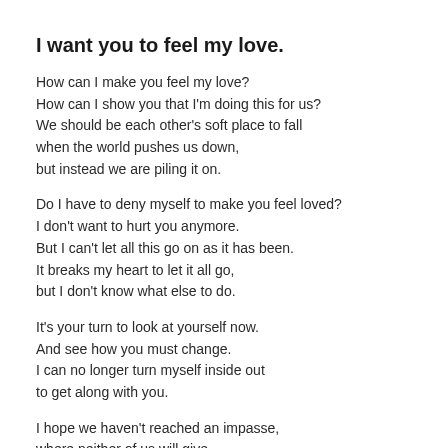I want you to feel my love.
How can I make you feel my love?
How can I show you that I'm doing this for us?
We should be each other's soft place to fall
when the world pushes us down,
but instead we are piling it on.
Do I have to deny myself to make you feel loved?
I don't want to hurt you anymore.
But I can't let all this go on as it has been.
It breaks my heart to let it all go,
but I don't know what else to do.
It's your turn to look at yourself now.
And see how you must change.
I can no longer turn myself inside out
to get along with you.
I hope we haven't reached an impasse,
where neither of us will give.
Standing in our righteousness.
Neither bending nor bowing to the other.
My love, I want to make it work.